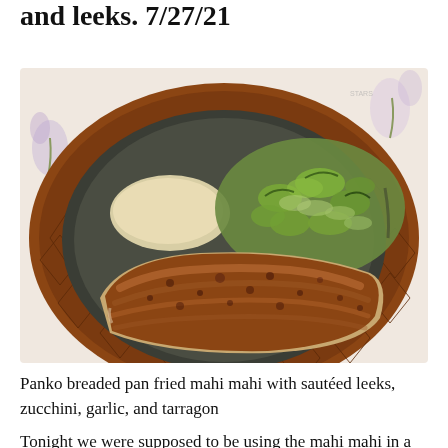and leeks. 7/27/21
[Figure (photo): A decorative brown ceramic plate with geometric pattern holding panko breaded pan fried mahi mahi fillet, sautéed zucchini and leeks, and what appears to be a creamy sauce. The plate is set on a floral tablecloth.]
Panko breaded pan fried mahi mahi with sautéed leeks, zucchini, garlic, and tarragon
Tonight we were supposed to be using the mahi mahi in a